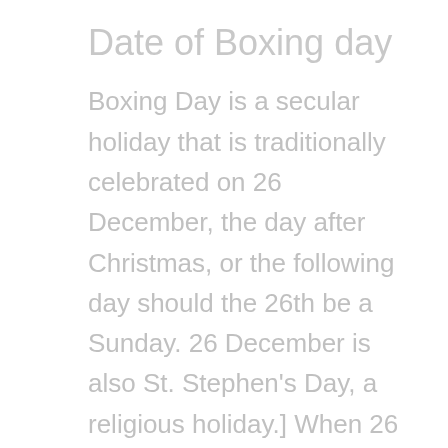Date of Boxing day
Boxing Day is a secular holiday that is traditionally celebrated on 26 December, the day after Christmas, or the following day should the 26th be a Sunday. 26 December is also St. Stephen's Day, a religious holiday.] When 26 December falls on a Sunday, Boxing Day in the United Kingdom and many Commonwealth countries and former British dominions is moved to 27 December. In the UK, Boxing Day is a bank holiday. If Boxing Day falls on a Saturday, the following Monday is given as a substitute bank holiday. On the occasion when Christmas Day is on a Saturday, the following Monday is Boxing Day and Tuesday the substitute